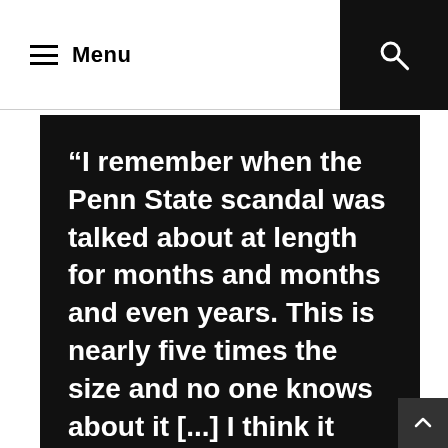≡ Menu
“I remember when the Penn State scandal was talked about at length for months and months and even years. This is nearly five times the size and no one knows about it [...] I think it plays into the importance that we put on male athletics versus female athletics. This is a case of gymnasts and dancers and